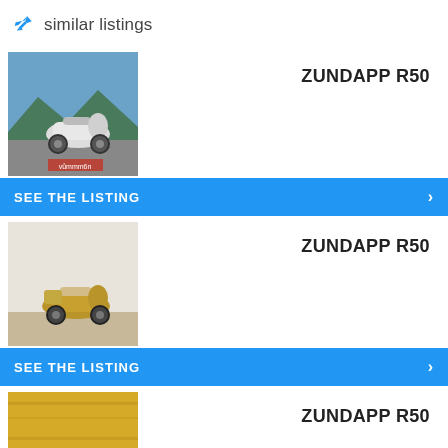similar listings
ZUNDAPP R50
SEE THE LISTING
[Figure (photo): White vintage scooter (Zundapp R50) parked outdoors with mountains and trees in background]
ZUNDAPP R50
SEE THE LISTING
[Figure (photo): Gold/bronze vintage scooter (Zundapp R50) photographed indoors against white wall]
ZUNDAPP R50
SEE THE LISTING
[Figure (photo): Red vintage scooter (Zundapp R50) photographed outdoors with golden background]